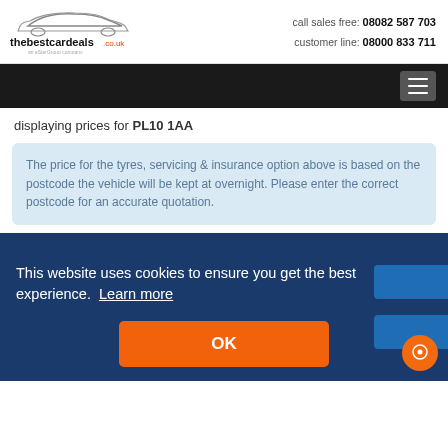[Figure (logo): thebestcardeals.co.uk logo with car silhouette above text]
call sales free: 08082 587 703
customer line: 08000 833 711
[Figure (other): Dark navigation bar with hamburger menu icon]
displaying prices for PL10 1AA
The price for the tyres, servicing & insurance option above is based on the postcode the vehicle will be kept at overnight. Please enter the correct postcode for an accurate quotation.
This website uses cookies to ensure you get the best experience. Learn more
OK